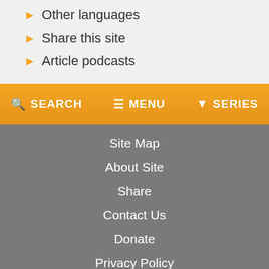Other languages
Share this site
Article podcasts
SEARCH  MENU  SERIES
Site Map
About Site
Share
Contact Us
Donate
Privacy Policy
▶ HOME  ▶ TOP
© EveryStudent.com